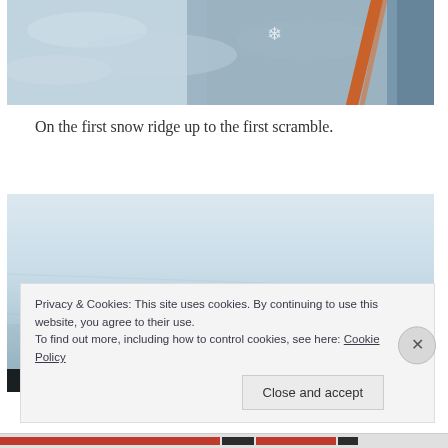[Figure (photo): Close-up photo of snow ridge with orange rope visible, taken from above looking down at snow and ice surface]
On the first snow ridge up to the first scramble.
[Figure (photo): Wide photo of a snow slope or snow field, mostly white/light blue snow surface with a dark figure visible at the bottom left corner]
Privacy & Cookies: This site uses cookies. By continuing to use this website, you agree to their use.
To find out more, including how to control cookies, see here: Cookie Policy
Close and accept